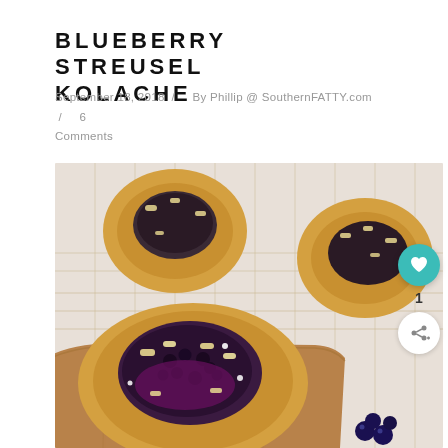BLUEBERRY STREUSEL KOLACHE
September 18, 2018  /  By Phillip @ SouthernFATTY.com  /  6 Comments
[Figure (photo): Photo of blueberry streusel kolache pastries on a wire cooling rack. Several round kolache with blueberry filling and streusel topping are visible. One kolache in the foreground is broken open to show the blueberry filling inside, placed on a wooden board. Fresh blueberries scattered at the bottom.]
[Figure (other): Heart/favorite button (teal circle with heart icon) with count of 1, and a share button below it.]